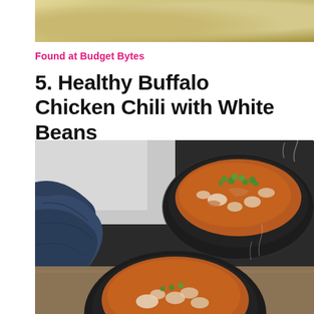[Figure (photo): Top partial photo showing a crepe or flatbread dish on a white plate with green herbs]
Found at Budget Bytes
5. Healthy Buffalo Chicken Chili with White Beans
[Figure (photo): Photo of two dark bowls of buffalo chicken chili with white beans, topped with chopped green onions, with a dark blue cloth napkin in the background]